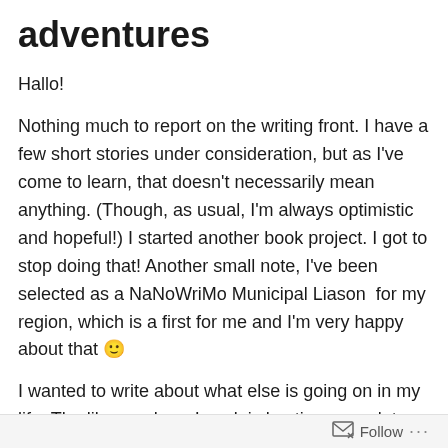adventures
Hallo!
Nothing much to report on the writing front. I have a few short stories under consideration, but as I've come to learn, that doesn't necessarily mean anything. (Though, as usual, I'm always optimistic and hopeful!) I started another book project. I got to stop doing that! Another small note, I've been selected as a NaNoWriMo Municipal Liason  for my region, which is a first for me and I'm very happy about that 🙂
I wanted to write about what else is going on in my life. The library where I work is hosting a con later this year, and I've played a big part in making it happen. I'm super
Follow ...